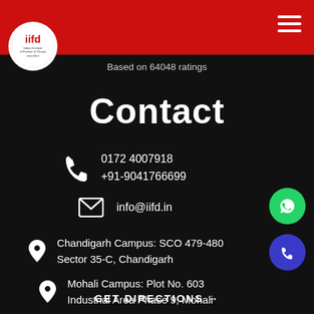[Figure (logo): IIFD Indian Institute of Fashion & Design circular logo on red header bar with hamburger menu icon]
Based on 64048 ratings
Contact
0172 4007918
+91-9041766699
info@iifd.in
Chandigarh Campus: SCO 479-480
Sector 35-C, Chandigarh
Mohali Campus: Plot No. 603
Industrial Area Phase 9, Mohali
GET DIRECTIONS →